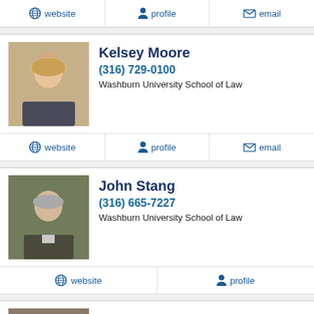website | profile | email (top action bar)
[Figure (photo): Portrait photo of Kelsey Moore, a woman with blonde hair]
Kelsey Moore
(316) 729-0100
Washburn University School of Law
website | profile | email
[Figure (photo): Portrait photo of John Stang, a man in a suit with grey hair]
John Stang
(316) 665-7227
Washburn University School of Law
website | profile
[Figure (photo): Portrait photo of Megan L. McCann]
Megan L. McCann